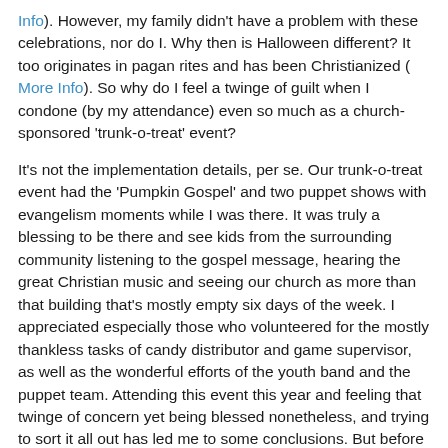Info). However, my family didn't have a problem with these celebrations, nor do I. Why then is Halloween different? It too originates in pagan rites and has been Christianized ( More Info). So why do I feel a twinge of guilt when I condone (by my attendance) even so much as a church-sponsored 'trunk-o-treat' event?
It's not the implementation details, per se. Our trunk-o-treat event had the 'Pumpkin Gospel' and two puppet shows with evangelism moments while I was there. It was truly a blessing to be there and see kids from the surrounding community listening to the gospel message, hearing the great Christian music and seeing our church as more than that building that's mostly empty six days of the week. I appreciated especially those who volunteered for the mostly thankless tasks of candy distributor and game supervisor, as well as the wonderful efforts of the youth band and the puppet team. Attending this event this year and feeling that twinge of concern yet being blessed nonetheless, and trying to sort it all out has led me to some conclusions. But before we get to them, I probably need to let everyone else in on the epiphany of sorts that I had regarding what was causing my twinge.
Let me begin with the minor issues. Let's talk about the title: